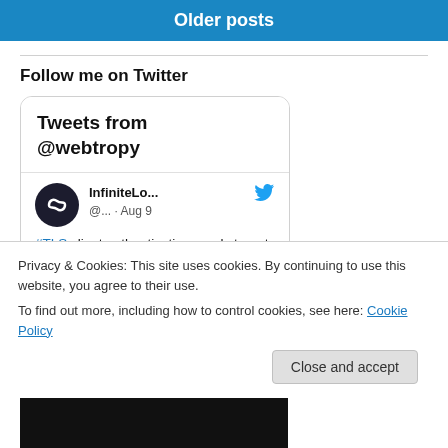Older posts
Follow me on Twitter
[Figure (screenshot): Twitter widget showing 'Tweets from @webtropy' header with a tweet from InfiniteLo... (@...) dated Aug 9, showing text '#TLS client authentication sends target host']
Privacy & Cookies: This site uses cookies. By continuing to use this website, you agree to their use.
To find out more, including how to control cookies, see here: Cookie Policy
Close and accept